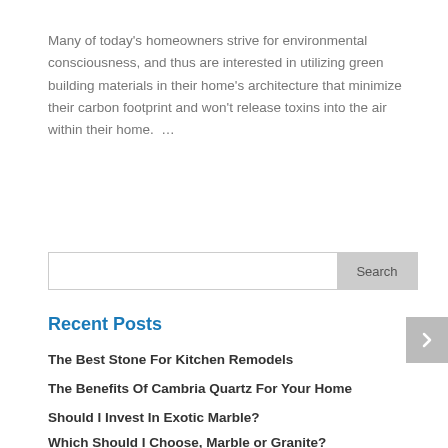Many of today's homeowners strive for environmental consciousness, and thus are interested in utilizing green building materials in their home's architecture that minimize their carbon footprint and won't release toxins into the air within their home.  …
« Older Entries
Recent Posts
The Best Stone For Kitchen Remodels
The Benefits Of Cambria Quartz For Your Home
Should I Invest In Exotic Marble?
Which Should I Choose, Marble or Granite?